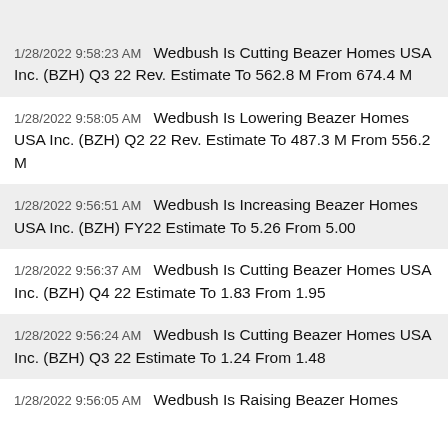1/28/2022 9:58:23 AM  Wedbush Is Cutting Beazer Homes USA Inc. (BZH) Q3 22 Rev. Estimate To 562.8 M From 674.4 M
1/28/2022 9:58:05 AM  Wedbush Is Lowering Beazer Homes USA Inc. (BZH) Q2 22 Rev. Estimate To 487.3 M From 556.2 M
1/28/2022 9:56:51 AM  Wedbush Is Increasing Beazer Homes USA Inc. (BZH) FY22 Estimate To 5.26 From 5.00
1/28/2022 9:56:37 AM  Wedbush Is Cutting Beazer Homes USA Inc. (BZH) Q4 22 Estimate To 1.83 From 1.95
1/28/2022 9:56:24 AM  Wedbush Is Cutting Beazer Homes USA Inc. (BZH) Q3 22 Estimate To 1.24 From 1.48
1/28/2022 9:56:05 AM  Wedbush Is Raising Beazer Homes USA Inc. (BZH) Q2 22 Estimate To 1.21 From 1.10